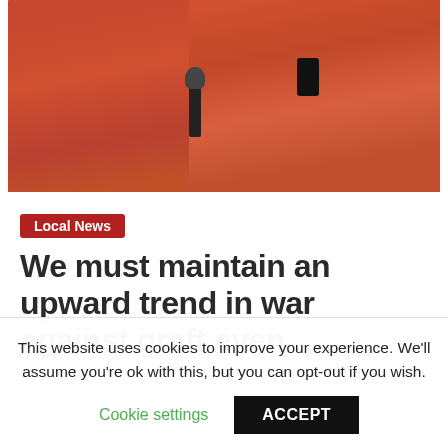[Figure (photo): Two people wearing orange/red robes speaking into microphones and a phone held up as a recording device]
Local News
We must maintain an upward trend in war against graft even
This website uses cookies to improve your experience. We'll assume you're ok with this, but you can opt-out if you wish.
Cookie settings
ACCEPT